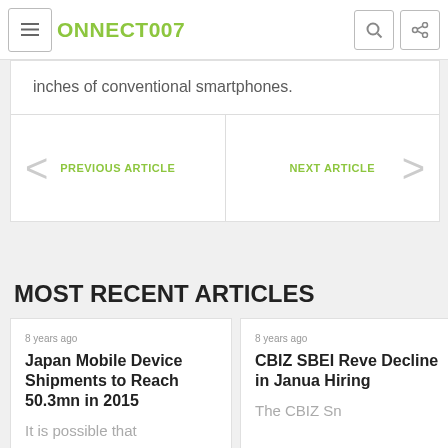CONNECT007
inches of conventional smartphones.
PREVIOUS ARTICLE
NEXT ARTICLE
MOST RECENT ARTICLES
8 years ago
Japan Mobile Device Shipments to Reach 50.3mn in 2015
It is possible that
8 years ago
CBIZ SBEI Reve... Decline in Janua... Hiring
The CBIZ Sm... Ba...